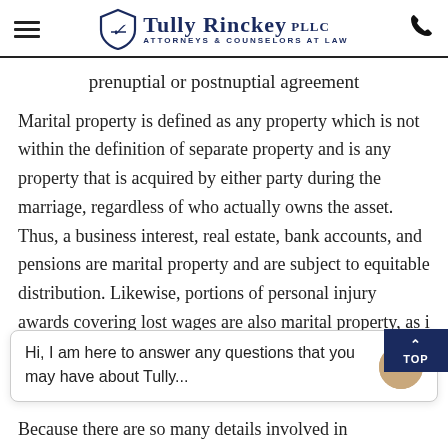Tully Rinckey PLLC — Attorneys & Counselors at Law
prenuptial or postnuptial agreement
Marital property is defined as any property which is not within the definition of separate property and is any property that is acquired by either party during the marriage, regardless of who actually owns the asset. Thus, a business interest, real estate, bank accounts, and pensions are marital property and are subject to equitable distribution. Likewise, portions of personal injury awards covering lost wages are also marital property, as i × n
Hi, I am here to answer any questions that you may have about Tully...
Because there are so many details involved in